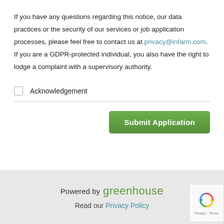If you have any questions regarding this notice, our data practices or the security of our services or job application processes, please feel free to contact us at privacy@infarm.com. If you are a GDPR-protected individual, you also have the right to lodge a complaint with a supervisory authority.
Acknowledgement
Submit Application
Powered by greenhouse
Read our Privacy Policy